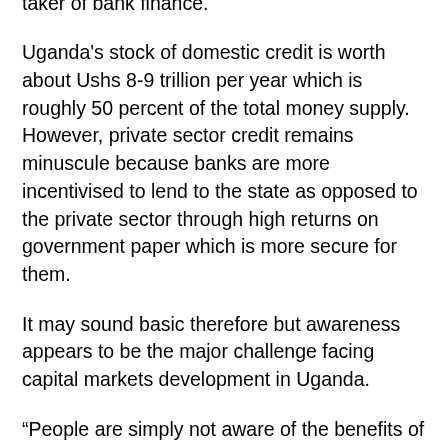to the fact that the state is already the major taker of bank finance.
Uganda's stock of domestic credit is worth about Ushs 8-9 trillion per year which is roughly 50 percent of the total money supply. However, private sector credit remains minuscule because banks are more incentivised to lend to the state as opposed to the private sector through high returns on government paper which is more secure for them.
It may sound basic therefore but awareness appears to be the major challenge facing capital markets development in Uganda.
“People are simply not aware of the benefits of stock markets and I don’t think we have enough foot soldiers out there making people aware of the potential benefits. And you also have to be sure that the foot soldiers know what to say to potential issuers to make them realise that it is a